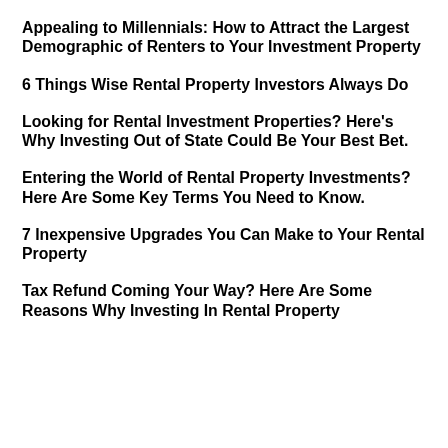Appealing to Millennials: How to Attract the Largest Demographic of Renters to Your Investment Property
6 Things Wise Rental Property Investors Always Do
Looking for Rental Investment Properties? Here's Why Investing Out of State Could Be Your Best Bet.
Entering the World of Rental Property Investments? Here Are Some Key Terms You Need to Know.
7 Inexpensive Upgrades You Can Make to Your Rental Property
Tax Refund Coming Your Way? Here Are Some Reasons Why Investing In Rental Property